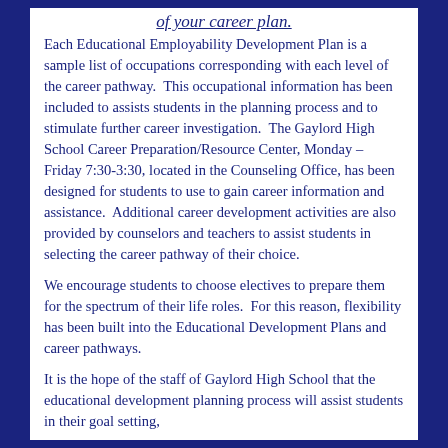of your career plan.
Each Educational Employability Development Plan is a sample list of occupations corresponding with each level of the career pathway.  This occupational information has been included to assists students in the planning process and to stimulate further career investigation.  The Gaylord High School Career Preparation/Resource Center, Monday – Friday 7:30-3:30, located in the Counseling Office, has been designed for students to use to gain career information and assistance.  Additional career development activities are also provided by counselors and teachers to assist students in selecting the career pathway of their choice.
We encourage students to choose electives to prepare them for the spectrum of their life roles.  For this reason, flexibility has been built into the Educational Development Plans and career pathways.
It is the hope of the staff of Gaylord High School that the educational development planning process will assist students in their goal setting,